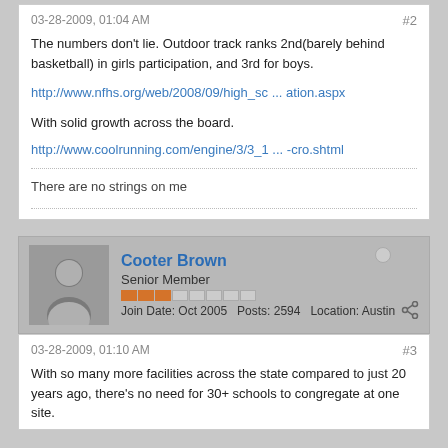03-28-2009, 01:04 AM
#2
The numbers don't lie. Outdoor track ranks 2nd(barely behind basketball) in girls participation, and 3rd for boys.
http://www.nfhs.org/web/2008/09/high_sc ... ation.aspx
With solid growth across the board.
http://www.coolrunning.com/engine/3/3_1 ... -cro.shtml
There are no strings on me
Cooter Brown
Senior Member
Join Date: Oct 2005   Posts: 2594   Location: Austin
03-28-2009, 01:10 AM
#3
With so many more facilities across the state compared to just 20 years ago, there's no need for 30+ schools to congregate at one site.